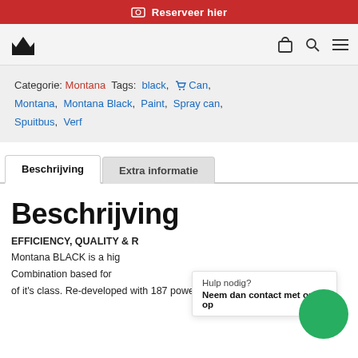Reserveer hier
[Figure (logo): Website logo - crown/wing shaped black icon]
Categorie: Montana Tags: black, Can, Montana, Montana Black, Paint, Spray can, Spuitbus, Verf
Beschrijving | Extra informatie
Beschrijving
EFFICIENCY, QUALITY & R Montana BLACK is a hig Combination based for of it's class. Re-developed with 187 powerful, high
Hulp nodig? Neem dan contact met ons op